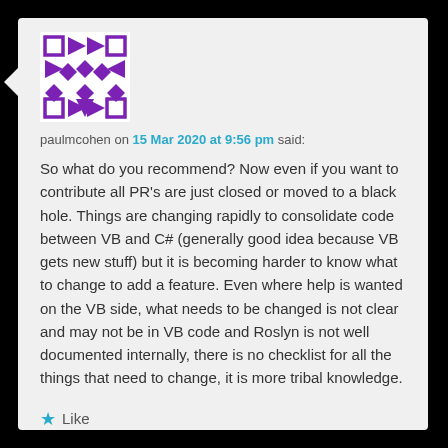[Figure (illustration): Geometric avatar icon with purple diamond/square patterns on white background]
paulmcohen on 15 Mar 2020 at 9:56 pm said:
So what do you recommend? Now even if you want to contribute all PR's are just closed or moved to a black hole. Things are changing rapidly to consolidate code between VB and C# (generally good idea because VB gets new stuff) but it is becoming harder to know what to change to add a feature. Even where help is wanted on the VB side, what needs to be changed is not clear and may not be in VB code and Roslyn is not well documented internally, there is no checklist for all the things that need to change, it is more tribal knowledge.
★ Like